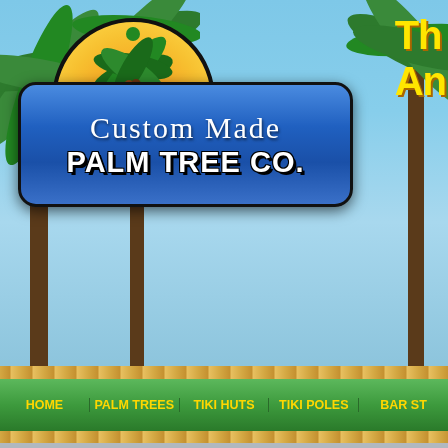[Figure (screenshot): Custom Made Palm Tree Co. website header with tropical beach background, company logo with palm tree on sun circle, blue banner with company name, navigation bar with green background and gold text links (HOME, PALM TREES, TIKI HUTS, TIKI POLES, BAR ST...), and sidebar contact box with company name, toll free number 866.349.4582, P: 330.633.0063, F: 330.633.1515, plus partial logo image at bottom right]